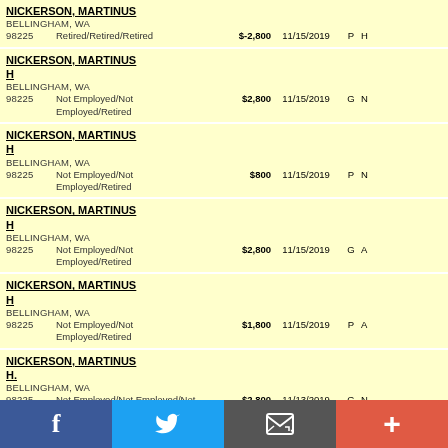| Name/Address | Occupation | Amount | Date | Type | Extra |
| --- | --- | --- | --- | --- | --- |
| NICKERSON, MARTINUS
BELLINGHAM, WA
98225 | Retired/Retired/Retired | $-2,800 | 11/15/2019 | P | H |
| NICKERSON, MARTINUS H
BELLINGHAM, WA
98225 | Not Employed/Not Employed/Retired | $2,800 | 11/15/2019 | G | N |
| NICKERSON, MARTINUS H
BELLINGHAM, WA
98225 | Not Employed/Not Employed/Retired | $800 | 11/15/2019 | P | N |
| NICKERSON, MARTINUS H
BELLINGHAM, WA
98225 | Not Employed/Not Employed/Retired | $2,800 | 11/15/2019 | G | A |
| NICKERSON, MARTINUS H
BELLINGHAM, WA
98225 | Not Employed/Not Employed/Retired | $1,800 | 11/15/2019 | P | A |
| NICKERSON, MARTINUS H.
BELLINGHAM, WA
98225 | Not Employed/Not Employed/Not Employed | $2,800 | 11/13/2019 | G | N |
| NICKERSON, MARTINUS |  |  |  |  |  |
f  [Twitter bird]  [Email icon]  +